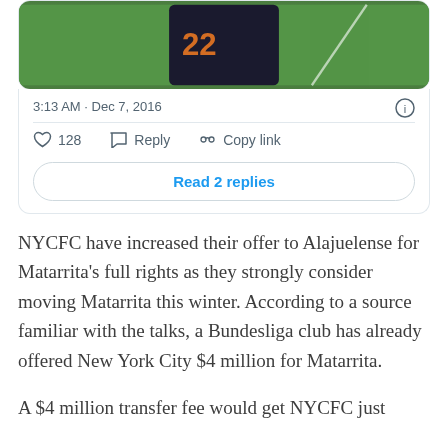[Figure (photo): Partial view of a soccer player wearing a dark jersey with orange number on a green field background]
3:13 AM · Dec 7, 2016
128  Reply  Copy link
Read 2 replies
NYCFC have increased their offer to Alajuelense for Matarrita's full rights as they strongly consider moving Matarrita this winter. According to a source familiar with the talks, a Bundesliga club has already offered New York City $4 million for Matarrita.
A $4 million transfer fee would get NYCFC just